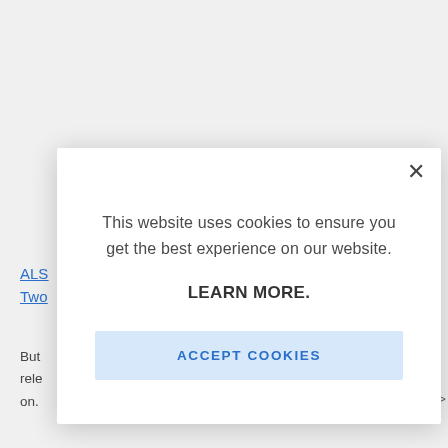ALSO
Two
But rele on.
[Figure (screenshot): Cookie consent modal dialog overlaying a website. The modal contains the message 'This website uses cookies to ensure you get the best experience on our website.' followed by 'LEARN MORE.' in bold, and an 'ACCEPT COOKIES' button. An X close button appears in the top-right corner of the modal.]